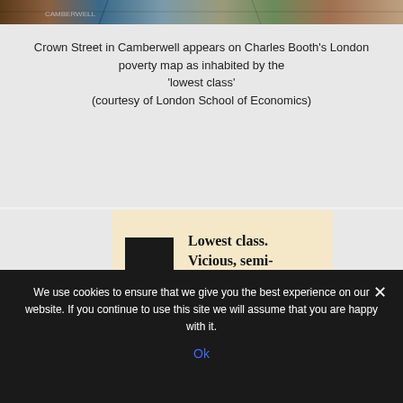[Figure (photo): Top portion of a historical map image showing Charles Booth's London poverty map, cropped]
Crown Street in Camberwell appears on Charles Booth's London poverty map as inhabited by the 'lowest class' (courtesy of London School of Economics)
[Figure (illustration): Legend entry from Charles Booth's poverty map showing a black square next to the text 'Lowest class. Vicious, semi-criminal.' on a cream/beige background]
[Figure (photo): Part of the Field Book entry for 3 Crown Street, Camberwell showing handwritten entries in two columns]
Part of the Field Book entry for 3 Crown Street, Camberwell (The National Archives catalogue
We use cookies to ensure that we give you the best experience on our website. If you continue to use this site we will assume that you are happy with it.
Ok